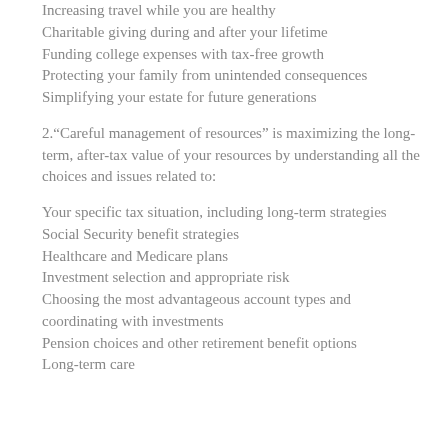Increasing travel while you are healthy
Charitable giving during and after your lifetime
Funding college expenses with tax-free growth
Protecting your family from unintended consequences
Simplifying your estate for future generations
2.“Careful management of resources” is maximizing the long-term, after-tax value of your resources by understanding all the choices and issues related to:
Your specific tax situation, including long-term strategies
Social Security benefit strategies
Healthcare and Medicare plans
Investment selection and appropriate risk
Choosing the most advantageous account types and coordinating with investments
Pension choices and other retirement benefit options
Long-term care